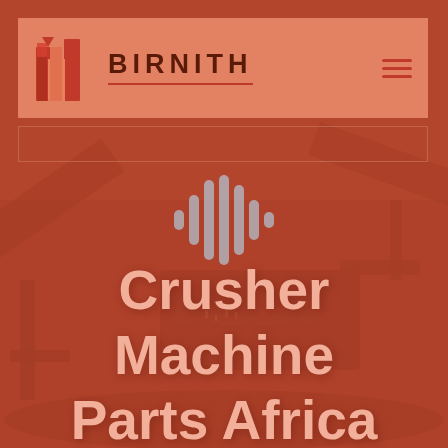[Figure (logo): Birnith company logo with building/construction icon and brand name BIRNITH in dark red on salmon background header bar]
Crusher Machine Parts Africa